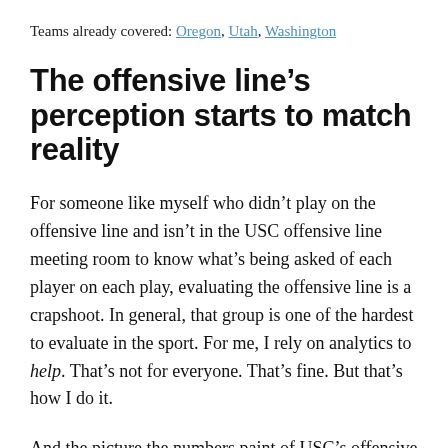Teams already covered: Oregon, Utah, Washington
The offensive line's perception starts to match reality
For someone like myself who didn't play on the offensive line and isn't in the USC offensive line meeting room to know what's being asked of each player on each play, evaluating the offensive line is a crapshoot. In general, that group is one of the hardest to evaluate in the sport. For me, I rely on analytics to help. That's not for everyone. That's fine. But that's how I do it.
And the picture the numbers paint of USC's offensive